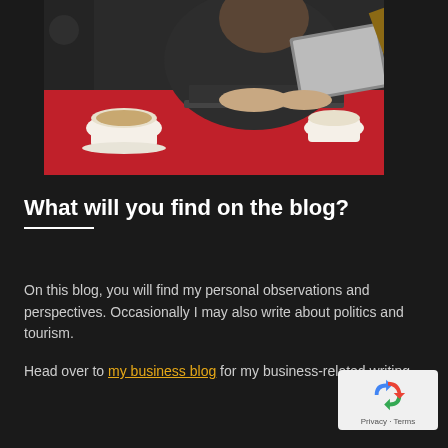[Figure (photo): Person sitting at a red table in a café, typing on a laptop. A cappuccino cup is visible in the foreground on the left side. Wooden beams and café furniture visible in the background.]
What will you find on the blog?
On this blog, you will find my personal observations and perspectives. Occasionally I may also write about politics and tourism.
Head over to my business blog for my business-related writing.
[Figure (logo): Google reCAPTCHA badge with blue recycling-style arrow icon and 'Privacy · Terms' text below on a white/light grey rounded rectangle background.]